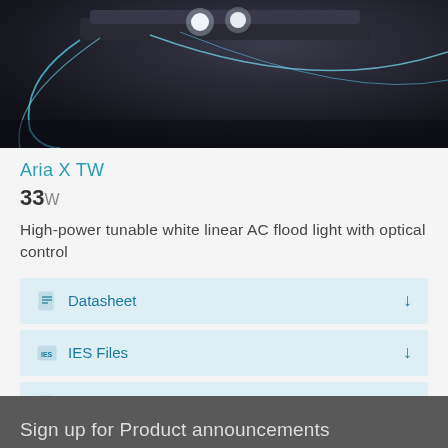[Figure (photo): A dark studio photo of a linear flood light fixture (Aria X TW) with bright white LEDs and sweeping cyan/white light trails on a dark background]
Aria X TW
33W
High-power tunable white linear AC flood light with optical control
Datasheet
IES Files
Installation Manual
Sign up for Product announcements